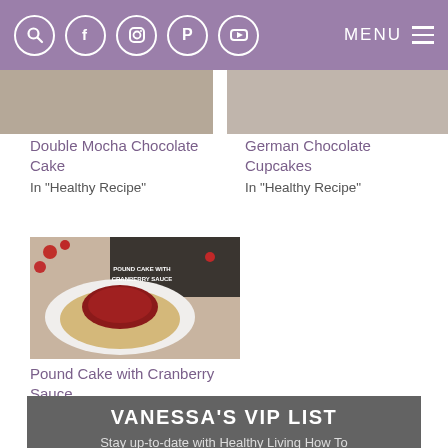MENU — navigation bar with search, facebook, instagram, pinterest, youtube icons
Double Mocha Chocolate Cake
In "Healthy Recipe"
German Chocolate Cupcakes
In "Healthy Recipe"
[Figure (photo): Photo of Pound Cake with Cranberry Sauce on a white plate with red berries in the background]
Pound Cake with Cranberry Sauce
In "Healthy Recipe"
VANESSA'S VIP LIST
Stay up-to-date with Healthy Living How To